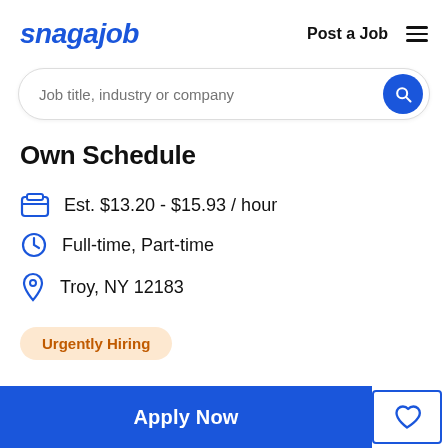snagajob  Post a Job
Job title, industry or company
Own Schedule
Est. $13.20 - $15.93 / hour
Full-time, Part-time
Troy, NY 12183
Urgently Hiring
Apply Now